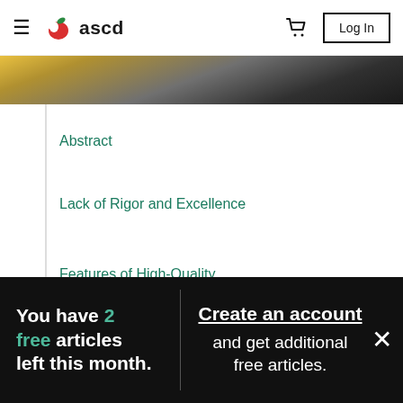ascd — navigation bar with hamburger menu, logo, cart, and Log In button
[Figure (photo): Partial photo strip showing a classroom or educational scene with yellow and dark tones]
Abstract
Lack of Rigor and Excellence
Features of High-Quality Classrooms
You have 2 free articles left this month. Create an account and get additional free articles.